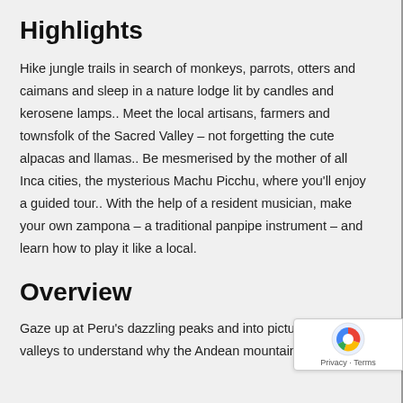Highlights
Hike jungle trails in search of monkeys, parrots, otters and caimans and sleep in a nature lodge lit by candles and kerosene lamps.. Meet the local artisans, farmers and townsfolk of the Sacred Valley – not forgetting the cute alpacas and llamas.. Be mesmerised by the mother of all Inca cities, the mysterious Machu Picchu, where you’ll enjoy a guided tour.. With the help of a resident musician, make your own zampona – a traditional panpipe instrument – and learn how to play it like a local.
Overview
Gaze up at Peru’s dazzling peaks and into picturesque valleys to understand why the Andean mountains were